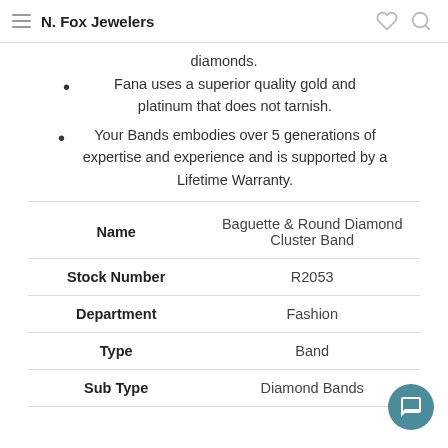N. Fox Jewelers
diamonds.
Fana uses a superior quality gold and platinum that does not tarnish.
Your Bands embodies over 5 generations of expertise and experience and is supported by a Lifetime Warranty.
| Name | Value |
| --- | --- |
| Name | Baguette & Round Diamond Cluster Band |
| Stock Number | R2053 |
| Department | Fashion |
| Type | Band |
| Sub Type | Diamond Bands |